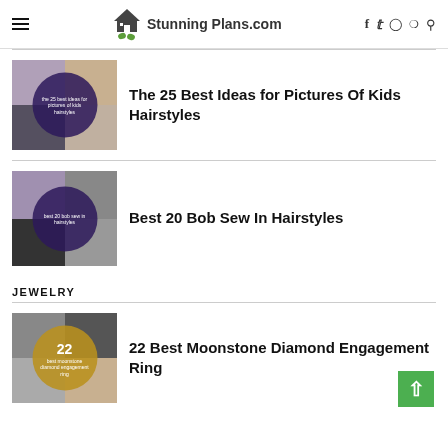StunningPlans.com — navigation header with hamburger menu, logo, social icons (f, twitter, instagram, pinterest, search)
[Figure (photo): Thumbnail collage of kids hairstyles with dark purple circle overlay reading 'the 25 best ideas for pictures of kids hairstyles']
The 25 Best Ideas for Pictures Of Kids Hairstyles
[Figure (photo): Thumbnail collage of bob sew-in hairstyles with dark purple circle overlay reading 'best 20 bob sew in hairstyles']
Best 20 Bob Sew In Hairstyles
JEWELRY
[Figure (photo): Thumbnail collage of moonstone diamond engagement rings with gold circle overlay showing '22 best moonstone diamond engagement ring']
22 Best Moonstone Diamond Engagement Ring